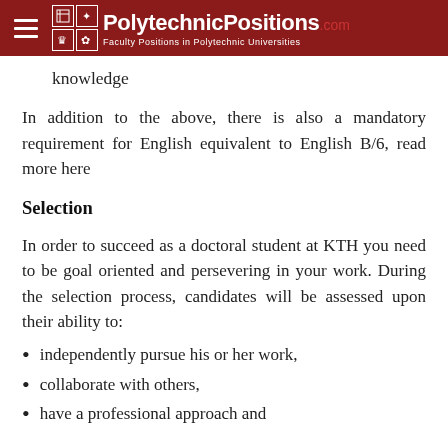PolytechnicPositions.com — Faculty Positions in Polytechnic Universities
knowledge
In addition to the above, there is also a mandatory requirement for English equivalent to English B/6, read more here
Selection
In order to succeed as a doctoral student at KTH you need to be goal oriented and persevering in your work. During the selection process, candidates will be assessed upon their ability to:
independently pursue his or her work,
collaborate with others,
have a professional approach and